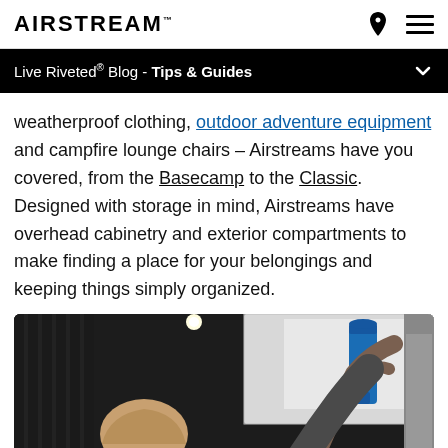AIRSTREAM
Live Riveted® Blog - Tips & Guides
weatherproof clothing, outdoor adventure equipment and campfire lounge chairs – Airstreams have you covered, from the Basecamp to the Classic. Designed with storage in mind, Airstreams have overhead cabinetry and exterior compartments to make finding a place for your belongings and keeping things simply organized.
[Figure (photo): A woman reaching up to place a blue water bottle into an overhead cabinet inside an Airstream trailer. The interior shows dark wood panels and overhead lighting.]